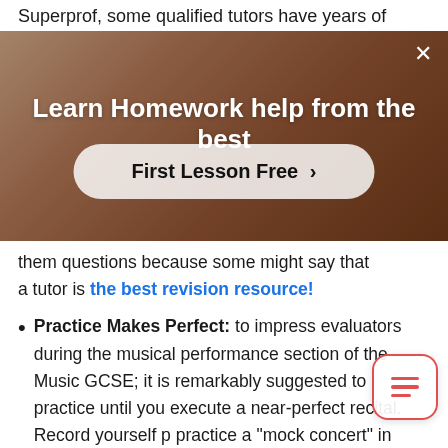Superprof, some qualified tutors have years of
[Figure (screenshot): Advertisement banner with dark brownish background showing a person in a red top. White bold text reads 'Learn Homework help from the best'. A button styled with rounded pill shape reads 'First Lesson Free >' in bold. A close (X) button appears top right.]
them questions because some might say that a tutor is the best revision resource!
Practice Makes Perfect: to impress evaluators during the musical performance section of the Music GCSE; it is remarkably suggested to practice until you execute a near-perfect recital. Record yourself p... practice a "mock concert" in front of friends or family, go through the notes and scales in your